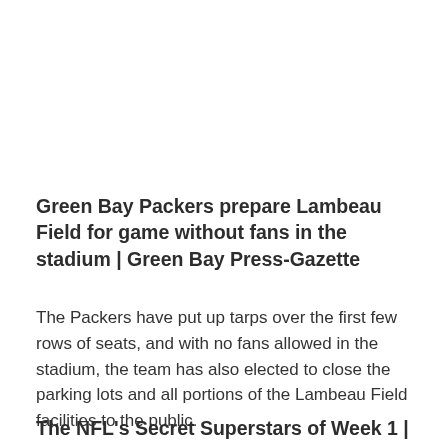Green Bay Packers prepare Lambeau Field for game without fans in the stadium | Green Bay Press-Gazette
The Packers have put up tarps over the first few rows of seats, and with no fans allowed in the stadium, the team has also elected to close the parking lots and all portions of the Lambeau Field facilities to the public.
The NFL's Secret Superstars of Week 1 |